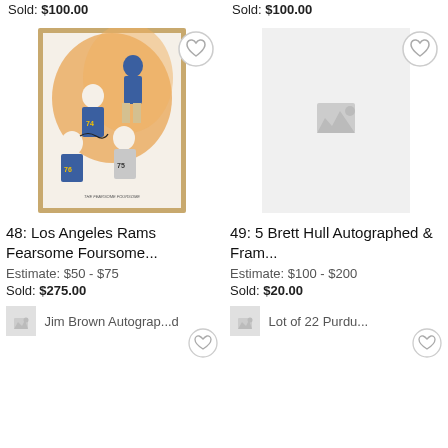Sold: $100.00
Sold: $100.00
[Figure (photo): Framed artwork of the Los Angeles Rams Fearsome Foursome players in action, watercolor style with jersey numbers 74, 76, 75 visible, with a signature]
[Figure (photo): Empty image placeholder for 5 Brett Hull Autographed and Framed item]
48: Los Angeles Rams Fearsome Foursome...
49: 5 Brett Hull Autographed & Fram...
Estimate: $50 - $75
Estimate: $100 - $200
Sold: $275.00
Sold: $20.00
[Figure (photo): Thumbnail image for Jim Brown Autographed item with heart/favorite button]
[Figure (photo): Thumbnail image for Lot of 22 Purdue item with heart/favorite button]